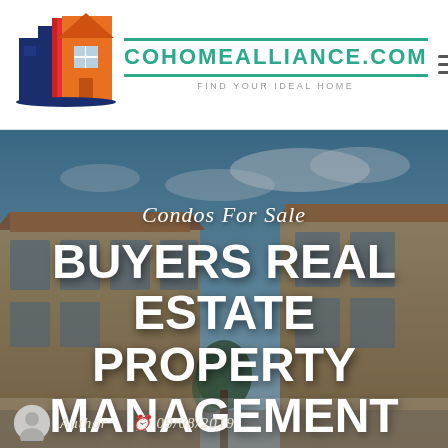[Figure (logo): Colorado Home Alliance logo — stylized house/building icon with blue columns and orange house shape]
COHOMEALLIANCE.COM
FIND YOUR IDEAL HOME
[Figure (photo): Hero image of a suburban condo/townhome complex with beige stucco walls, tiled roofs, and large windows under a partly cloudy sky]
Condos For Sale
BUYERS REAL ESTATE PROPERTY MANAGEMENT
Author  09/08/2019